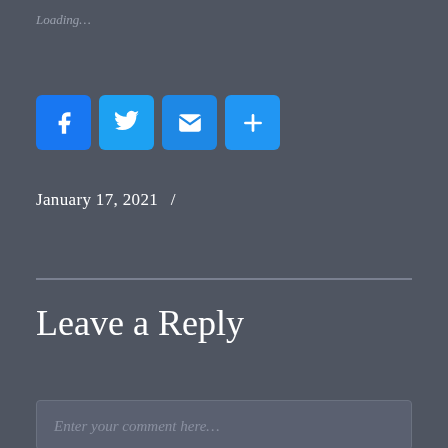Loading…
[Figure (infographic): Social share buttons: Facebook (blue), Twitter (blue), Email (blue envelope), More/Share (blue plus sign)]
January 17, 2021  /
Leave a Reply
Enter your comment here…